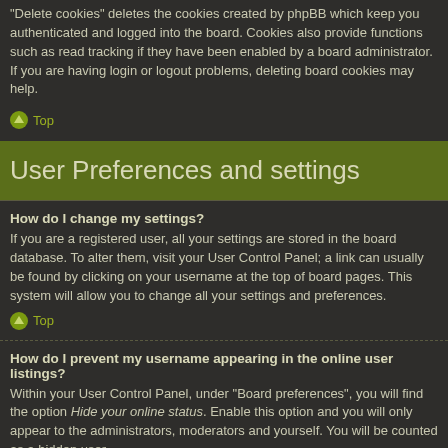"Delete cookies" deletes the cookies created by phpBB which keep you authenticated and logged into the board. Cookies also provide functions such as read tracking if they have been enabled by a board administrator. If you are having login or logout problems, deleting board cookies may help.
Top
User Preferences and settings
How do I change my settings?
If you are a registered user, all your settings are stored in the board database. To alter them, visit your User Control Panel; a link can usually be found by clicking on your username at the top of board pages. This system will allow you to change all your settings and preferences.
Top
How do I prevent my username appearing in the online user listings?
Within your User Control Panel, under "Board preferences", you will find the option Hide your online status. Enable this option and you will only appear to the administrators, moderators and yourself. You will be counted as a hidden user.
Top
The times are not correct!